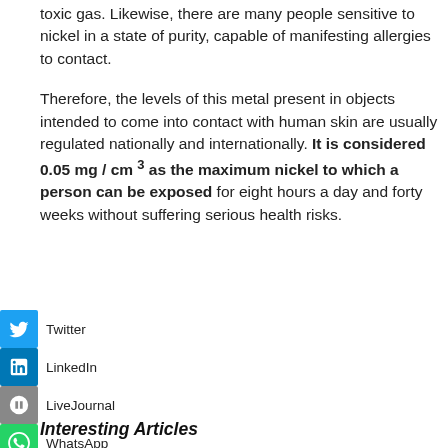toxic gas. Likewise, there are many people sensitive to nickel in a state of purity, capable of manifesting allergies to contact.
Therefore, the levels of this metal present in objects intended to come into contact with human skin are usually regulated nationally and internationally. It is considered 0.05 mg / cm³ as the maximum nickel to which a person can be exposed for eight hours a day and forty weeks without suffering serious health risks.
Interesting Articles